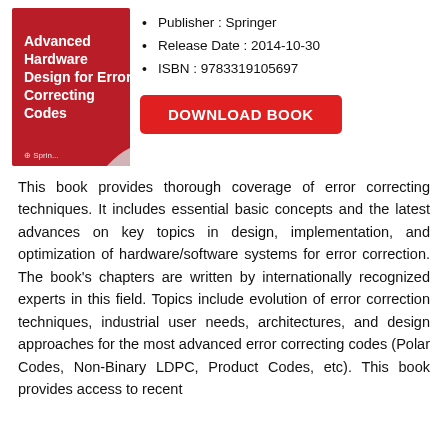[Figure (illustration): Book cover for 'Advanced Hardware Design for Error Correcting Codes' by Springer, red cover with white text and curled page corner]
Publisher : Springer
Release Date : 2014-10-30
ISBN : 9783319105697
DOWNLOAD BOOK
This book provides thorough coverage of error correcting techniques. It includes essential basic concepts and the latest advances on key topics in design, implementation, and optimization of hardware/software systems for error correction. The book's chapters are written by internationally recognized experts in this field. Topics include evolution of error correction techniques, industrial user needs, architectures, and design approaches for the most advanced error correcting codes (Polar Codes, Non-Binary LDPC, Product Codes, etc). This book provides access to recent